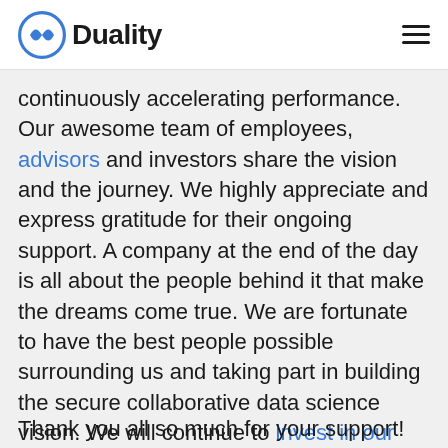Duality
continuously accelerating performance. Our awesome team of employees, advisors and investors share the vision and the journey. We highly appreciate and express gratitude for their ongoing support. A company at the end of the day is all about the people behind it that make the dreams come true. We are fortunate to have the best people possible surrounding us and taking part in building the secure collaborative data science vision. We will continue to invest in our people, with a focus on personal and professional development as we grow the team and the customer base. We could not be more excited by the journey ahead!
Thank you all so much for your support!